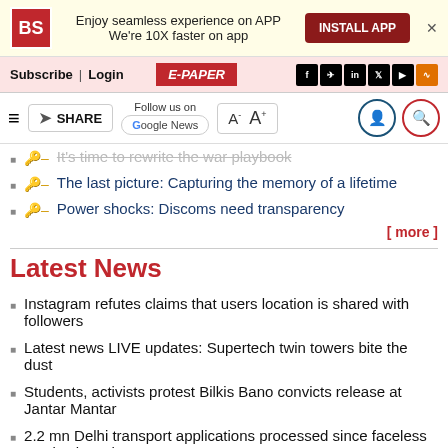[Figure (screenshot): Business Standard app install banner with BS logo, text 'Enjoy seamless experience on APP We're 10X faster on app', Install APP button, and X close button]
Subscribe| Login   E-PAPER   [social icons: f, telegram, in, twitter, youtube, rss]
[Figure (screenshot): Toolbar with hamburger menu, SHARE button, Follow us on Google News badge, A- A+ font controls, user icon, search icon]
The last picture: Capturing the memory of a lifetime
Power shocks: Discoms need transparency
[ more ]
Latest News
Instagram refutes claims that users location is shared with followers
Latest news LIVE updates: Supertech twin towers bite the dust
Students, activists protest Bilkis Bano convicts release at Jantar Mantar
2.2 mn Delhi transport applications processed since faceless service launch